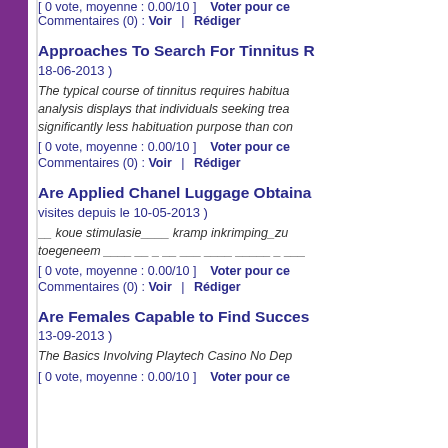[ 0 vote, moyenne : 0.00/10 ]   Voter pour ce
Commentaires (0) : Voir | Rédiger
Approaches To Search For Tinnitus R
18-06-2013 )
The typical course of tinnitus requires habitua analysis displays that individuals seeking trea significantly less habituation purpose than con
[ 0 vote, moyenne : 0.00/10 ]   Voter pour ce
Commentaires (0) : Voir | Rédiger
Are Applied Chanel Luggage Obtaina
visites depuis le 10-05-2013 )
__ koue stimulasie____ kramp inkrimping_zu toegeneem ____ __ _ __ ___ ____ _____ _ ___
[ 0 vote, moyenne : 0.00/10 ]   Voter pour ce
Commentaires (0) : Voir | Rédiger
Are Females Capable to Find Succes
13-09-2013 )
The Basics Involving Playtech Casino No Dep
[ 0 vote, moyenne : 0.00/10 ]   Voter pour ce